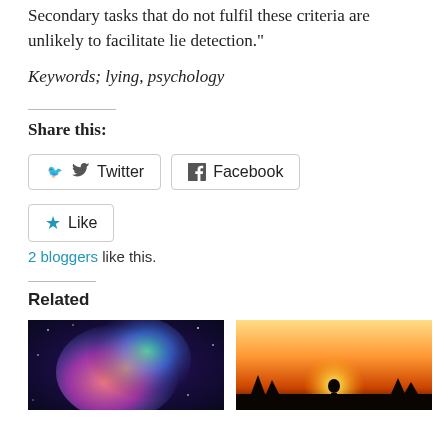Secondary tasks that do not fulfil these criteria are unlikely to facilitate lie detection."
Keywords; lying, psychology
Share this:
[Figure (other): Twitter share button]
[Figure (other): Facebook share button]
[Figure (other): Like button]
2 bloggers like this.
Related
[Figure (photo): Colorful cosmic/alien brain-like illustration on dark background]
[Figure (photo): Silhouette of person against sunset sky]